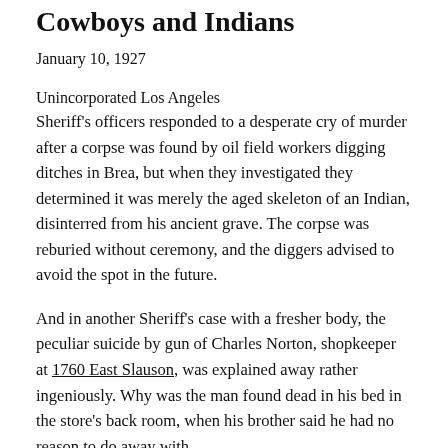Cowboys and Indians
January 10, 1927
Unincorporated Los Angeles
Sheriff's officers responded to a desperate cry of murder after a corpse was found by oil field workers digging ditches in Brea, but when they investigated they determined it was merely the aged skeleton of an Indian, disinterred from his ancient grave. The corpse was reburied without ceremony, and the diggers advised to avoid the spot in the future.
And in another Sheriff's case with a fresher body, the peculiar suicide by gun of Charles Norton, shopkeeper at 1760 East Slauson, was explained away rather ingeniously. Why was the man found dead in his bed in the store's back room, when his brother said he had no reason to do away with